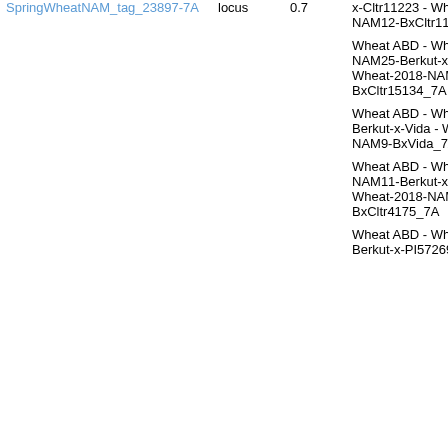| Tag | Type | Value | Name | Extra |
| --- | --- | --- | --- | --- |
| SpringWheatNAM_tag_23897-7A | locus | 0.7 | x-Cltr11223 - Wheat-2018-NAM12-BxCltr11223_7A | 7... |
|  |  |  | Wheat ABD - Wheat-2018-NAM25-Berkut-x-Cltr15134 - Wheat-2018-NAM25-BxCltr15134_7A | S 7... |
|  |  |  | Wheat ABD - Wheat-2018-NAM9-Berkut-x-Vida - Wheat-2018-NAM9-BxVida_7A | S 7... |
|  |  |  | Wheat ABD - Wheat-2018-NAM11-Berkut-x-Cltr4175 - Wheat-2018-NAM11-BxCltr4175_7A | S 7... |
|  |  |  | Wheat ABD - Wheat-2018-NAM2-Berkut-x-PI572692 - | S... |